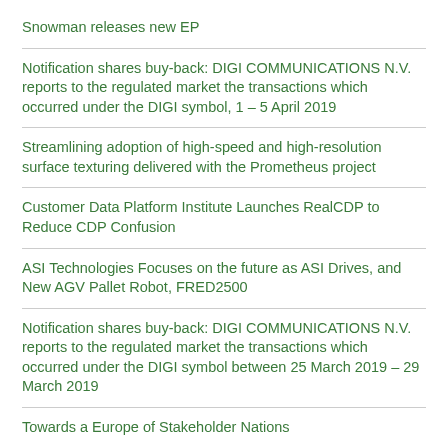Snowman releases new EP
Notification shares buy-back: DIGI COMMUNICATIONS N.V. reports to the regulated market the transactions which occurred under the DIGI symbol, 1 – 5 April 2019
Streamlining adoption of high-speed and high-resolution surface texturing delivered with the Prometheus project
Customer Data Platform Institute Launches RealCDP to Reduce CDP Confusion
ASI Technologies Focuses on the future as ASI Drives, and New AGV Pallet Robot, FRED2500
Notification shares buy-back: DIGI COMMUNICATIONS N.V. reports to the regulated market the transactions which occurred under the DIGI symbol between 25 March 2019 – 29 March 2019
Towards a Europe of Stakeholder Nations